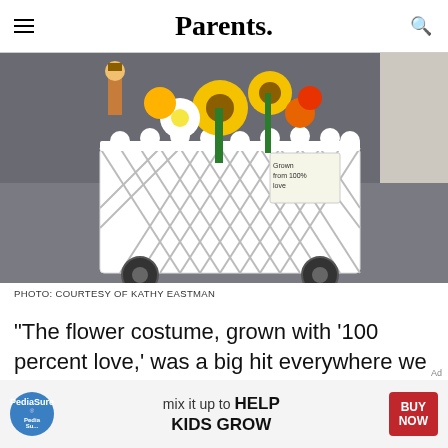Parents.
[Figure (photo): A child's flower garden costume: a white lattice fence/wagon filled with colorful artificial flowers (yellow sunflowers, white daisies, red and orange blooms) with a small scarecrow figure and a sign reading 'Grown from 100% love']
PHOTO: COURTESY OF KATHY EASTMAN
"The flower costume, grown with '100 percent love,' was a big hit everywhere we went and
[Figure (other): PediaSure advertisement banner: 'mix it up to HELP KIDS GROW' with BUY NOW button]